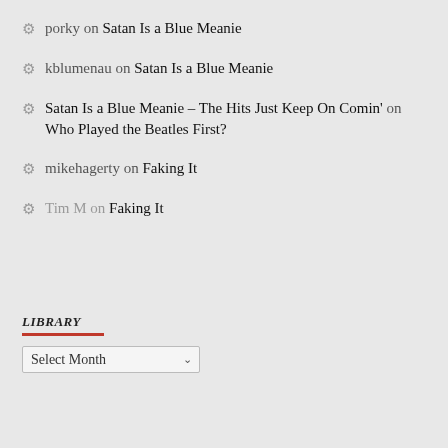porky on Satan Is a Blue Meanie
kblumenau on Satan Is a Blue Meanie
Satan Is a Blue Meanie – The Hits Just Keep On Comin' on Who Played the Beatles First?
mikehagerty on Faking It
Tim M on Faking It
LIBRARY